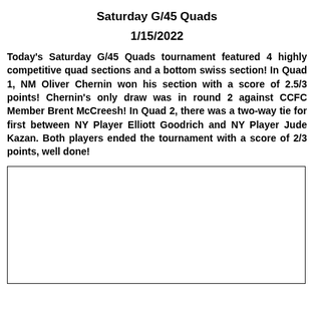Saturday G/45 Quads
1/15/2022
Today's Saturday G/45 Quads tournament featured 4 highly competitive quad sections and a bottom swiss section! In Quad 1, NM Oliver Chernin won his section with a score of 2.5/3 points! Chernin's only draw was in round 2 against CCFC Member Brent McCreesh! In Quad 2, there was a two-way tie for first between NY Player Elliott Goodrich and NY Player Jude Kazan. Both players ended the tournament with a score of 2/3 points, well done!
[Figure (other): Empty bordered box area, likely a placeholder for a table or image]